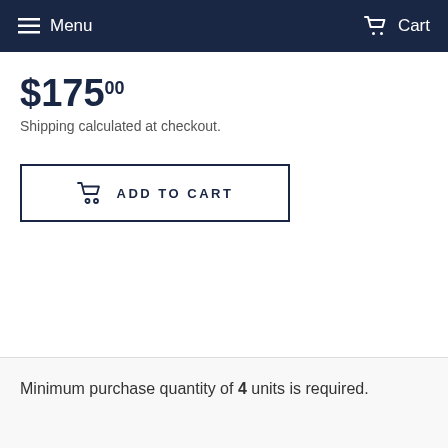Menu   Cart
$175.00
Shipping calculated at checkout.
ADD TO CART
Minimum purchase quantity of 4 units is required.